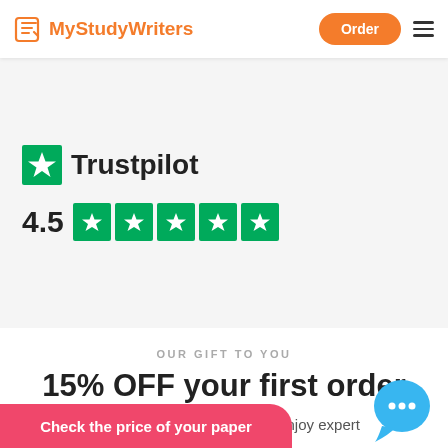MyStudyWriters | Order
[Figure (logo): MyStudyWriters logo with orange document icon and text, plus Order button and hamburger menu]
[Figure (logo): Trustpilot logo with green star icon and Trustpilot text]
[Figure (infographic): 4.5 star rating displayed with five filled green star boxes]
OUR GIFT TO YOU
15% OFF your first order
Use a coupon FIRST15 and enjoy expert at affordable pri
Check the price of your paper